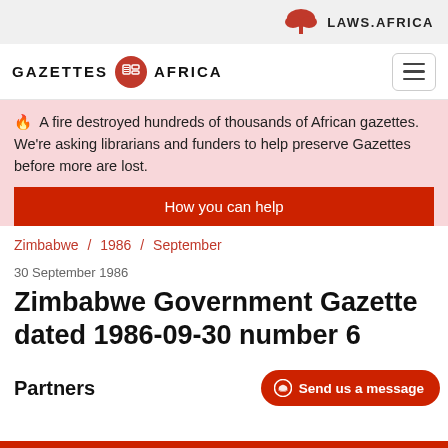LAWS.AFRICA
GAZETTES AFRICA
🔥 A fire destroyed hundreds of thousands of African gazettes. We're asking librarians and funders to help preserve Gazettes before more are lost.
How you can help
Zimbabwe / 1986 / September
30 September 1986
Zimbabwe Government Gazette dated 1986-09-30 number 6
Partners
Send us a message